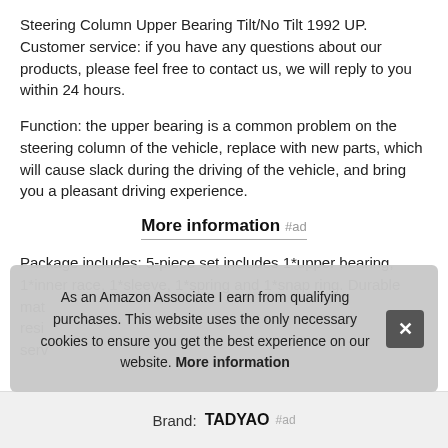Steering Column Upper Bearing Tilt/No Tilt 1992 UP. Customer service: if you have any questions about our products, please feel free to contact us, we will reply to you within 24 hours.
Function: the upper bearing is a common problem on the steering column of the vehicle, replace with new parts, which will cause slack during the driving of the vehicle, and bring you a pleasant driving experience.
More information #ad
Package includes: 5-piece set includes 1*upper bearing, 1*inner race, 1*sleeve, 1*spring and 1*snap ring. Durable mat... resi... serv...
As an Amazon Associate I earn from qualifying purchases. This website uses the only necessary cookies to ensure you get the best experience on our website. More information
Brand: TADYAO #ad